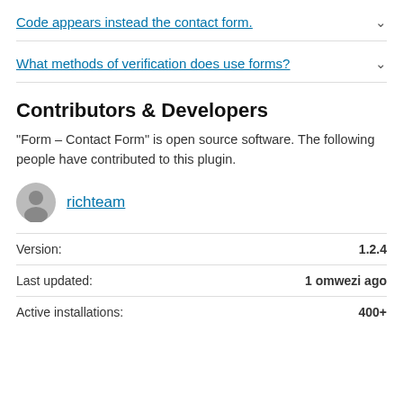Code appears instead the contact form.
What methods of verification does use forms?
Contributors & Developers
“Form – Contact Form” is open source software. The following people have contributed to this plugin.
richteam
| Label | Value |
| --- | --- |
| Version: | 1.2.4 |
| Last updated: | 1 omwezi ago |
| Active installations: | 400+ |